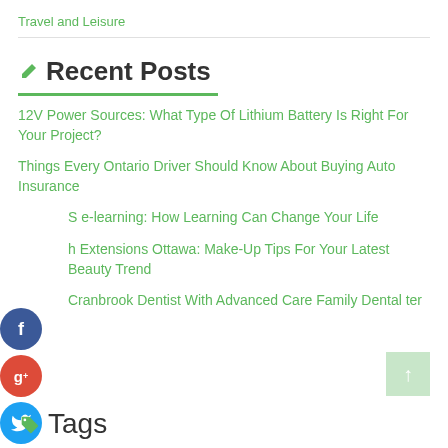Travel and Leisure
Recent Posts
12V Power Sources: What Type Of Lithium Battery Is Right For Your Project?
Things Every Ontario Driver Should Know About Buying Auto Insurance
S e-learning: How Learning Can Change Your Life
h Extensions Ottawa: Make-Up Tips For Your Latest Beauty Trend
Cranbrook Dentist With Advanced Care Family Dental ter
Tags